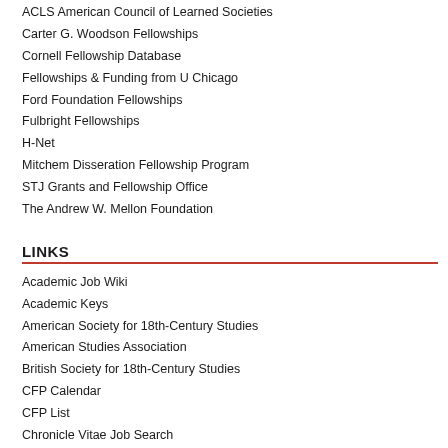ACLS American Council of Learned Societies
Carter G. Woodson Fellowships
Cornell Fellowship Database
Fellowships & Funding from U Chicago
Ford Foundation Fellowships
Fulbright Fellowships
H-Net
Mitchem Disseration Fellowship Program
STJ Grants and Fellowship Office
The Andrew W. Mellon Foundation
LINKS
Academic Job Wiki
Academic Keys
American Society for 18th-Century Studies
American Studies Association
British Society for 18th-Century Studies
CFP Calendar
CFP List
Chronicle Vitae Job Search